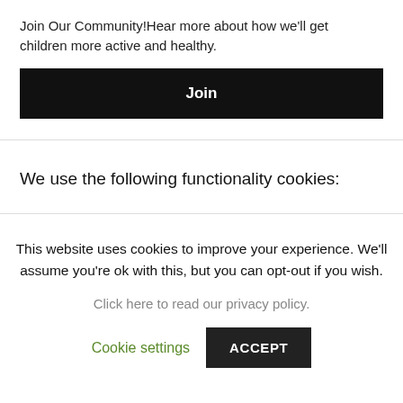×
Join Our Community!Hear more about how we'll get children more active and healthy.
Join
We use the following functionality cookies:
This website uses cookies to improve your experience. We'll assume you're ok with this, but you can opt-out if you wish.
Click here to read our privacy policy.
Cookie settings
ACCEPT